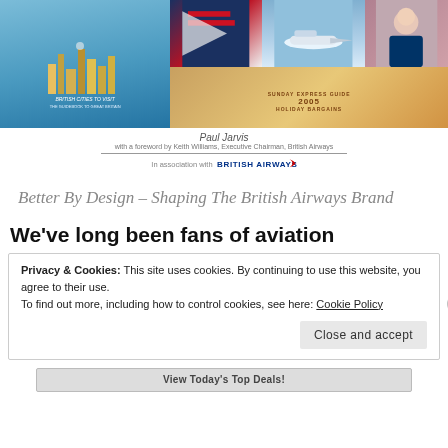[Figure (photo): Book cover for 'Better By Design – Shaping The British Airways Brand' by Paul Jarvis, showing a collage of British Airways images including vintage travel posters, aircraft, cabin crew, and classic cars. In association with British Airways.]
Better By Design – Shaping The British Airways Brand
We've long been fans of aviation
Privacy & Cookies: This site uses cookies. By continuing to use this website, you agree to their use.
To find out more, including how to control cookies, see here: Cookie Policy
Close and accept
View Today's Top Deals!